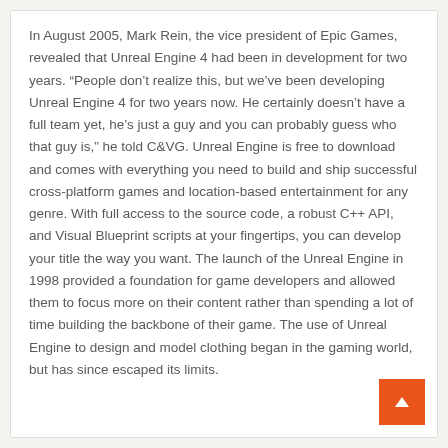In August 2005, Mark Rein, the vice president of Epic Games, revealed that Unreal Engine 4 had been in development for two years. “People don’t realize this, but we’ve been developing Unreal Engine 4 for two years now. He certainly doesn’t have a full team yet, he’s just a guy and you can probably guess who that guy is,” he told C&VG. Unreal Engine is free to download and comes with everything you need to build and ship successful cross-platform games and location-based entertainment for any genre. With full access to the source code, a robust C++ API, and Visual Blueprint scripts at your fingertips, you can develop your title the way you want. The launch of the Unreal Engine in 1998 provided a foundation for game developers and allowed them to focus more on their content rather than spending a lot of time building the backbone of their game. The use of Unreal Engine to design and model clothing began in the gaming world, but has since escaped its limits.